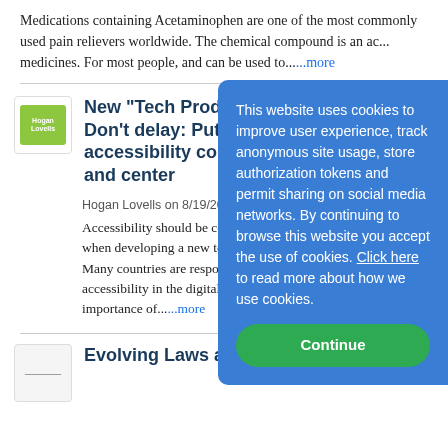Medications containing Acetaminophen are one of the most commonly used pain relievers worldwide. The chemical compound is an ac... medicines. For most people, ... and can be used to...more
New "Tech Prod... Don't delay: Put... accessibility con... and center
Hogan Lovells on 8/19/2022...
Accessibility should be cons... when developing a new tech... Many countries are respond... accessibility in the digital sp... importance of...more
[Figure (screenshot): Cookie consent overlay on a blue background with Continue button]
Evolving Laws and Litigation